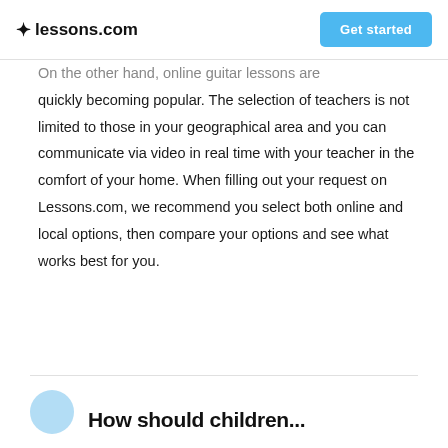lessons.com  Get started
On the other hand, online guitar lessons are quickly becoming popular. The selection of teachers is not limited to those in your geographical area and you can communicate via video in real time with your teacher in the comfort of your home. When filling out your request on Lessons.com, we recommend you select both online and local options, then compare your options and see what works best for you.
How should children...